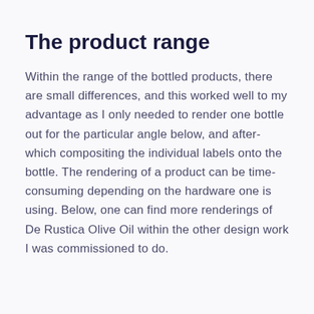The product range
Within the range of the bottled products, there are small differences, and this worked well to my advantage as I only needed to render one bottle out for the particular angle below, and after-which compositing the individual labels onto the bottle. The rendering of a product can be time-consuming depending on the hardware one is using. Below, one can find more renderings of De Rustica Olive Oil within the other design work I was commissioned to do.